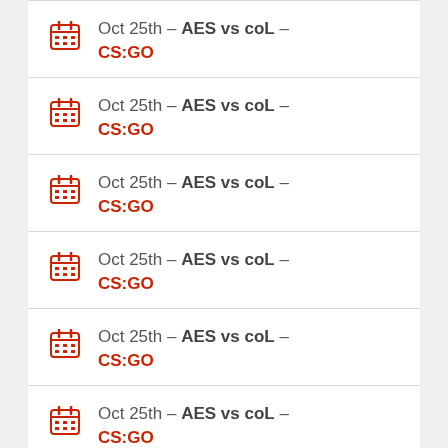Oct 25th – AES vs coL – CS:GO
Oct 25th – AES vs coL – CS:GO
Oct 25th – AES vs coL – CS:GO
Oct 25th – AES vs coL – CS:GO
Oct 25th – AES vs coL – CS:GO
Oct 25th – AES vs coL – CS:GO